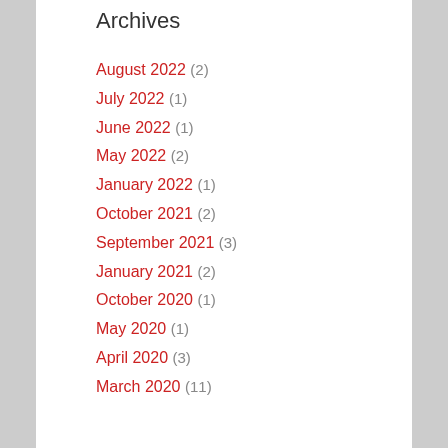Archives
August 2022 (2)
July 2022 (1)
June 2022 (1)
May 2022 (2)
January 2022 (1)
October 2021 (2)
September 2021 (3)
January 2021 (2)
October 2020 (1)
May 2020 (1)
April 2020 (3)
March 2020 (11)